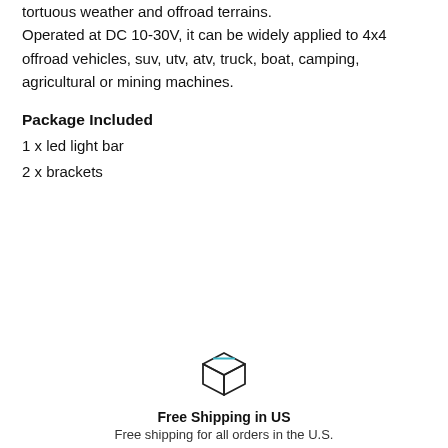tortuous weather and offroad terrains. Operated at DC 10-30V, it can be widely applied to 4x4 offroad vehicles, suv, utv, atv, truck, boat, camping, agricultural or mining machines.
Package Included
1 x led light bar
2 x brackets
[Figure (illustration): Box/package icon with a teal/blue highlight line on top]
Free Shipping in US
Free shipping for all orders in the U.S.